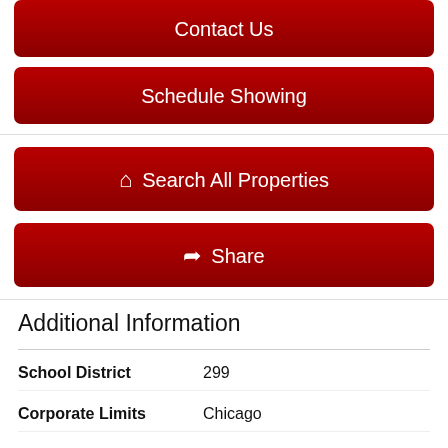Contact Us
Schedule Showing
Search All Properties
Share
Additional Information
| Field | Value |
| --- | --- |
| School District | 299 |
| Corporate Limits | Chicago |
| Tax Year | 2020 |